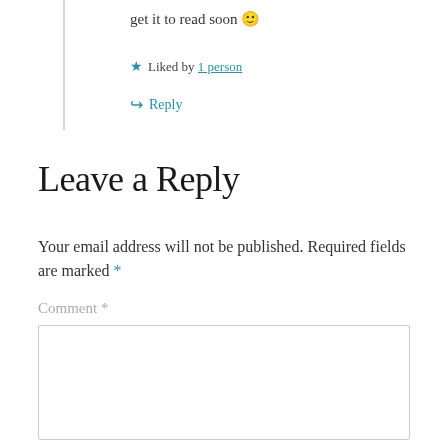get it to read soon 🙂
★ Liked by 1 person
↪ Reply
Leave a Reply
Your email address will not be published. Required fields are marked *
Comment *